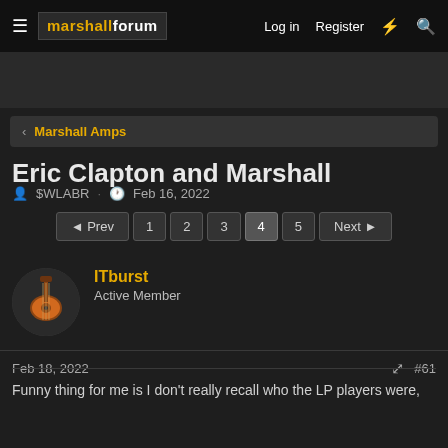marshall forum — Log in  Register
< Marshall Amps
Eric Clapton and Marshall
$WLABR · Feb 16, 2022
◄ Prev  1  2  3  4  5  Next ►
ITburst
Active Member
Feb 18, 2022  #61
Funny thing for me is I don't really recall who the LP players were,